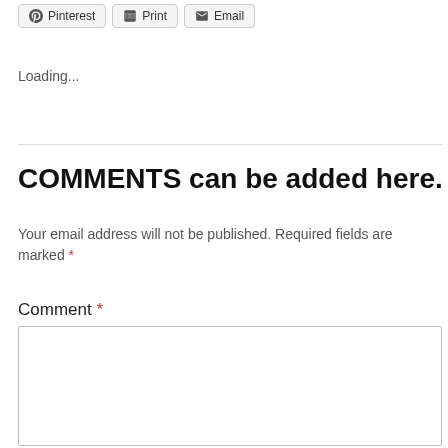Pinterest | Print | Email
Loading...
COMMENTS can be added here.
Your email address will not be published. Required fields are marked *
Comment *